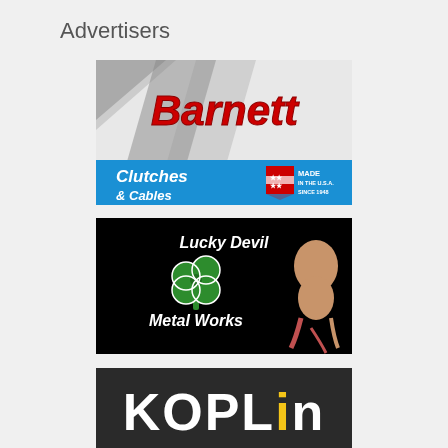Advertisers
[Figure (logo): Barnett Clutches & Cables logo with checkered flag background, red script 'Barnett' text, blue bar with 'Clutches & Cables', and 'MADE IN THE U.S.A. SINCE 1948' badge]
[Figure (logo): Lucky Devil Metal Works logo on black background with green four-leaf clover and gothic white text, partial figure of devil character on right]
[Figure (logo): Koplin logo on dark background with white and yellow lettering, partially visible at bottom of page]